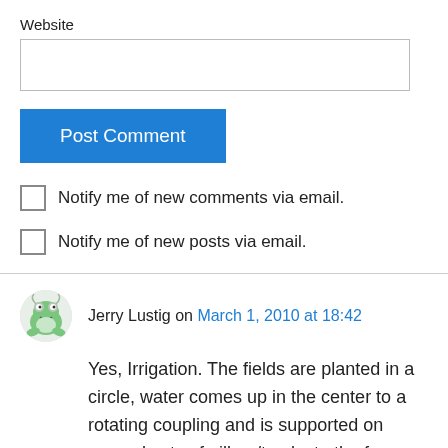Website
Post Comment
Notify me of new comments via email.
Notify me of new posts via email.
Jerry Lustig on March 1, 2010 at 18:42
Yes, Irrigation. The fields are planted in a circle, water comes up in the center to a rotating coupling and is supported on several sets of pillars/tracks to the far edge. When water is flowing to the sprinkler heads some is routed